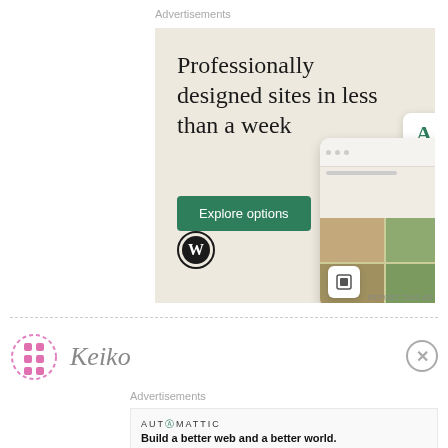Advertisements
[Figure (illustration): WordPress advertisement: 'Professionally designed sites in less than a week' with green 'Explore options' button, WordPress logo, and mockup screens showing a food/recipe website. Beige/cream background.]
REPORT THIS AD
[Figure (logo): Keiko brand logo: pink diamond-pattern icon with 'Keiko' italic text in gray serif font]
Advertisements
[Figure (illustration): Automattic advertisement: 'AUTOMATTIC' in letter-spaced text with teal @ symbol, tagline 'Build a better web and a better world.']
REPORT THIS AD